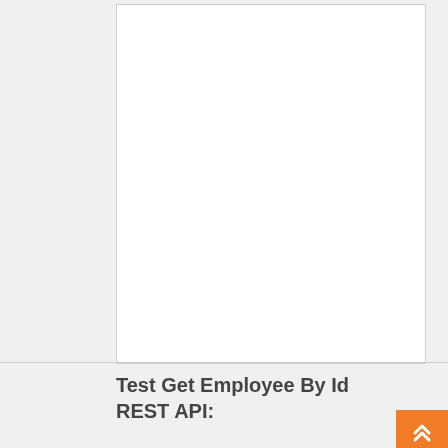[Figure (screenshot): White empty content area panel with a border, occupying most of the upper portion of the page]
Test Get Employee By Id REST API:
[Figure (other): Broken/missing image placeholder icon at bottom of page]